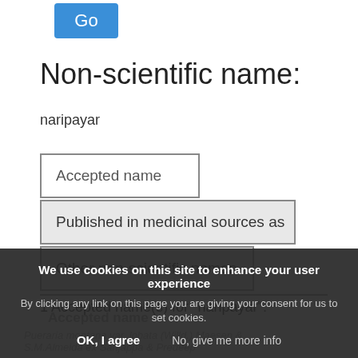[Figure (screenshot): Blue 'Go' button]
Non-scientific name:
naripayar
Accepted name
Published in medicinal sources as
Other non-scientific names
1 Accepted name(s) for "naripayar":
We use cookies on this site to enhance your user experience
By clicking any link on this page you are giving your consent for us to set cookies.
OK, I agree    No, give me more info
Accepted name
Pueraria montana var. lobata (Willd.) Maesen & S.M.Almeida ex Sanjappa & Predeep